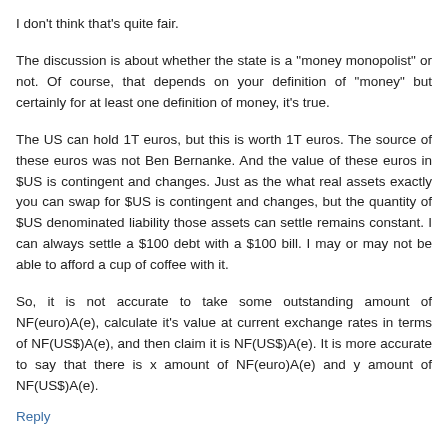I don't think that's quite fair.
The discussion is about whether the state is a "money monopolist" or not. Of course, that depends on your definition of "money" but certainly for at least one definition of money, it's true.
The US can hold 1T euros, but this is worth 1T euros. The source of these euros was not Ben Bernanke. And the value of these euros in $US is contingent and changes. Just as the what real assets exactly you can swap for $US is contingent and changes, but the quantity of $US denominated liability those assets can settle remains constant. I can always settle a $100 debt with a $100 bill. I may or may not be able to afford a cup of coffee with it.
So, it is not accurate to take some outstanding amount of NF(euro)A(e), calculate it's value at current exchange rates in terms of NF(US$)A(e), and then claim it is NF(US$)A(e). It is more accurate to say that there is x amount of NF(euro)A(e) and y amount of NF(US$)A(e).
Reply